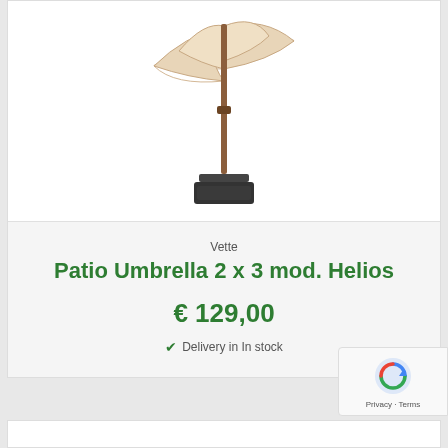[Figure (photo): Patio umbrella product photo — offset cantilever umbrella with wooden pole and square base, beige/cream canopy, shown on white background]
Vette
Patio Umbrella 2 x 3 mod. Helios
€ 129,00
Delivery in In stock
[Figure (logo): Google reCAPTCHA badge with spinning arrow logo and Privacy · Terms text]